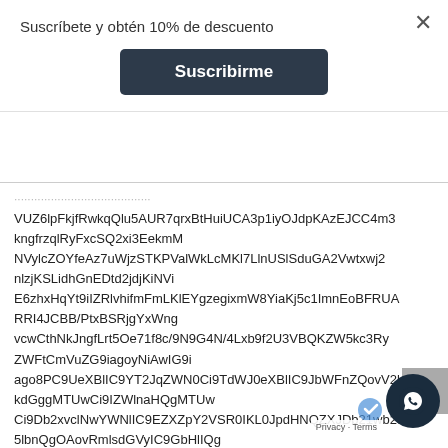Suscríbete y obtén 10% de descuento
Suscribirme
VUZ6lpFkjfRwkqQlu5AUR7qrxBtHuiUCA3p1iyOJdpKAzEJCC4m3
kngfrzqlRyFxcSQ2xi3EekmM
NVylcZOYfeAz7uWjzSTKPValWkLcMKl7LlnUSlSduGA2Vwtxwj2
nlzjKSLidhGnEDtd2jdjKiNVi
E6zhxHqYt9iIZRlvhifmFmLKlEYgzegixmW8YiaKj5c1ImnEoBFRUA
RRI4JCBB/PtxBSRjgYxWng
vcwCthNkJngfLrt5Oe71f8c/9N9G4N/4Lxb9f2U3VBQKZW5kc3Ry
ZWFtCmVuZG9iagoyNiAwIG9i
ago8PC9UeXBlIC9YT2JqZWN0Ci9TdWJ0eXBlIC9JbWFnZQovV2l
kdGggMTUwCi9IZWlnaHQgMTUw
Ci9Db2xvclNwYWNlIC9EZXZpY2VSR0IKL0JpdHNQZXJDb21wb25
5lbnQgOAovRmlsdGVyIC9GbHlIQgovQ1RE
ZWNvZGVQYXJtcyA8PC9QcmVkaWN0b3IgMTUKL0NvbG9ycyAzCi9
VWFtbVFSbmd3QlJlMlBTcU9N
UYAAQEBAGAAYAAA//4AO0NSRUFU
T1I6IGdkLWpwZWcdjEuMCAodXNpbmcgSlpwHIEpQRUcdj
SwqcXVhbGl0eSA9IDqvCy9hAFMA